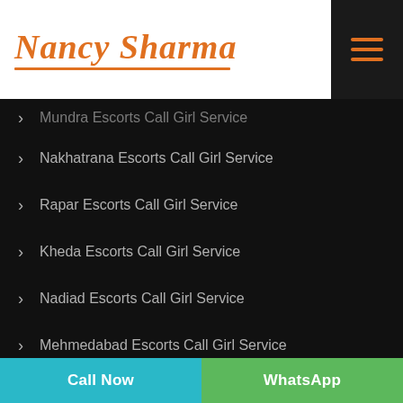Nancy Sharma
Mundra Escorts Call Girl Service
Nakhatrana Escorts Call Girl Service
Rapar Escorts Call Girl Service
Kheda Escorts Call Girl Service
Nadiad Escorts Call Girl Service
Mehmedabad Escorts Call Girl Service
Santrampur Escorts Call Girl Service
Mehsana Escorts Call Girl Service
Becharaji Escorts Call Girl Service
Call Now | WhatsApp